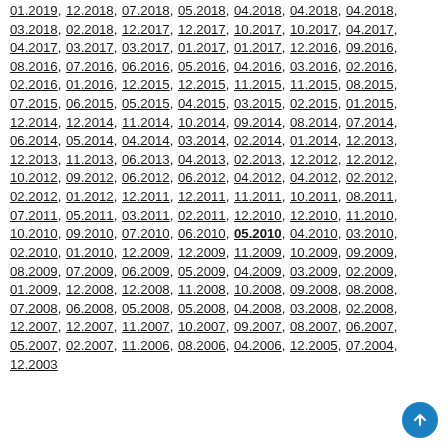01.2019, 12.2018, 07.2018, 05.2018, 04.2018, 04.2018, 04.2018, 03.2018, 02.2018, 12.2017, 12.2017, 10.2017, 10.2017, 04.2017, 04.2017, 03.2017, 03.2017, 01.2017, 01.2017, 12.2016, 09.2016, 08.2016, 07.2016, 06.2016, 05.2016, 04.2016, 03.2016, 02.2016, 02.2016, 01.2016, 12.2015, 12.2015, 11.2015, 11.2015, 08.2015, 07.2015, 06.2015, 05.2015, 04.2015, 03.2015, 02.2015, 01.2015, 12.2014, 12.2014, 11.2014, 10.2014, 09.2014, 08.2014, 07.2014, 06.2014, 05.2014, 04.2014, 03.2014, 02.2014, 01.2014, 12.2013, 12.2013, 11.2013, 06.2013, 04.2013, 02.2013, 12.2012, 12.2012, 10.2012, 09.2012, 06.2012, 06.2012, 04.2012, 04.2012, 02.2012, 02.2012, 01.2012, 12.2011, 12.2011, 11.2011, 10.2011, 08.2011, 07.2011, 05.2011, 03.2011, 02.2011, 12.2010, 12.2010, 11.2010, 10.2010, 09.2010, 07.2010, 06.2010, 05.2010, 04.2010, 03.2010, 02.2010, 01.2010, 12.2009, 12.2009, 11.2009, 10.2009, 09.2009, 08.2009, 07.2009, 06.2009, 05.2009, 04.2009, 03.2009, 02.2009, 01.2009, 12.2008, 12.2008, 11.2008, 10.2008, 09.2008, 08.2008, 07.2008, 06.2008, 05.2008, 05.2008, 04.2008, 03.2008, 02.2008, 12.2007, 12.2007, 11.2007, 10.2007, 09.2007, 08.2007, 06.2007, 05.2007, 02.2007, 11.2006, 08.2006, 04.2006, 12.2005, 07.2004, 12.2003